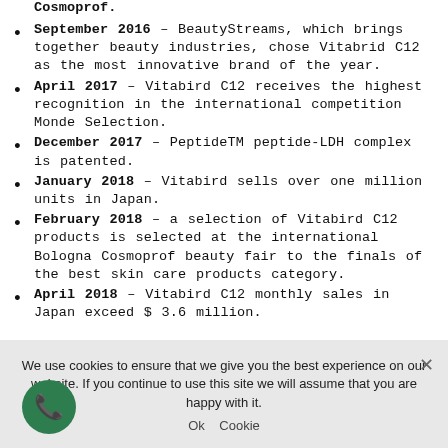September 2016 – BeautyStreams, which brings together beauty industries, chose Vitabrid C12 as the most innovative brand of the year.
April 2017 – Vitabird C12 receives the highest recognition in the international competition Monde Selection.
December 2017 – PeptideTM peptide-LDH complex is patented.
January 2018 – Vitabird sells over one million units in Japan.
February 2018 – a selection of Vitabird C12 products is selected at the international Bologna Cosmoprof beauty fair to the finals of the best skin care products category.
April 2018 – Vitabird C12 monthly sales in Japan exceed $ 3.6 million.
We use cookies to ensure that we give you the best experience on our website. If you continue to use this site we will assume that you are happy with it.
Ok   Cookie